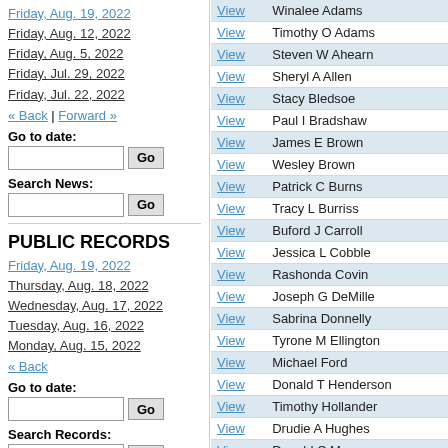Friday, Aug. 19, 2022
Friday, Aug. 12, 2022
Friday, Aug. 5, 2022
Friday, Jul. 29, 2022
Friday, Jul. 22, 2022
« Back | Forward »
Go to date:
Search News:
PUBLIC RECORDS
Friday, Aug. 19, 2022
Thursday, Aug. 18, 2022
Wednesday, Aug. 17, 2022
Tuesday, Aug. 16, 2022
Monday, Aug. 15, 2022
« Back
Go to date:
Search Records:
PUBLIC NOTICES
Friday, Oct. 14, 2016
|  | Name |
| --- | --- |
| View | Winalee Adams |
| View | Timothy O Adams |
| View | Steven W Ahearn |
| View | Sheryl A Allen |
| View | Stacy Bledsoe |
| View | Paul I Bradshaw |
| View | James E Brown |
| View | Wesley Brown |
| View | Patrick C Burns |
| View | Tracy L Burriss |
| View | Buford J Carroll |
| View | Jessica L Cobble |
| View | Rashonda Covin |
| View | Joseph G DeMille |
| View | Sabrina Donnelly |
| View | Tyrone M Ellington |
| View | Michael Ford |
| View | Donald T Henderson |
| View | Timothy Hollander |
| View | Drudie A Hughes |
| View | Donald C Massey |
| View | Troy M McCoun |
| View | Dawn M Minton |
| View | Lisa A Mosby |